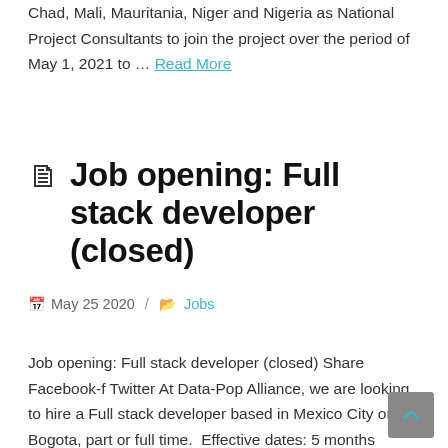Chad, Mali, Mauritania, Niger and Nigeria as National Project Consultants to join the project over the period of May 1, 2021 to … Read More
Job opening: Full stack developer (closed)
May 25 2020 / Jobs
Job opening: Full stack developer (closed) Share Facebook-f Twitter At Data-Pop Alliance, we are looking to hire a Full stack developer based in Mexico City or Bogota, part or full time.  Effective dates: 5 months initially, half time or full time (to be discussed). Reporting to the Chief Operations Officer (CCO) and the Communications and